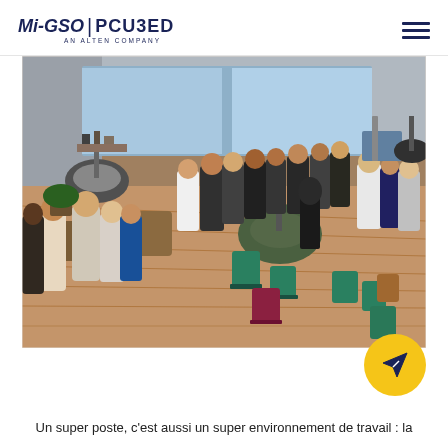Mi-GSO | PCU3ED AN ALTEN COMPANY
[Figure (photo): Interior of a modern event or coworking space with people gathered in groups, colorful chairs, wooden floors, industrial pendant lamps, and large windows. The photo is taken from an elevated angle showing attendees at what appears to be a professional networking event.]
Un super poste, c'est aussi un super environnement de travail : la